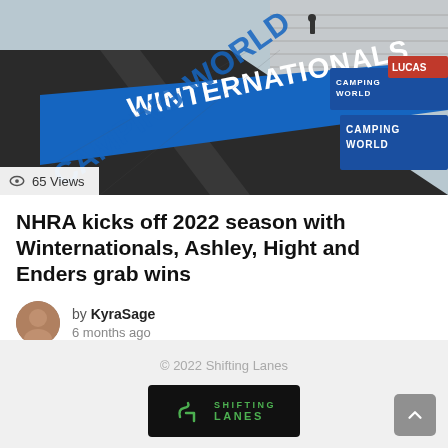[Figure (photo): Aerial/close view of a drag racing strip with blue 'Camping World Winternationals' barrier signage and bleachers in background]
65 Views
NHRA kicks off 2022 season with Winternationals, Ashley, Hight and Enders grab wins
by KyraSage
6 months ago
© 2022 Shifting Lanes
[Figure (logo): Shifting Lanes logo — black rectangle with stylized SL monogram and green text]